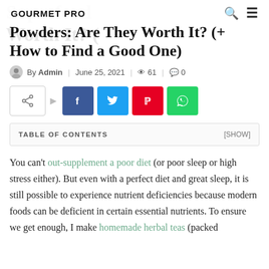GOURMET PRO
Powders: Are They Worth It? (+ How to Find a Good One)
By Admin | June 25, 2021 | 61 | 0
[Figure (other): Social share buttons: share icon, Facebook, Twitter, Pinterest, WhatsApp]
TABLE OF CONTENTS [SHOW]
You can't out-supplement a poor diet (or poor sleep or high stress either). But even with a perfect diet and great sleep, it is still possible to experience nutrient deficiencies because modern foods can be deficient in certain essential nutrients. To ensure we get enough, I make homemade herbal teas (packed